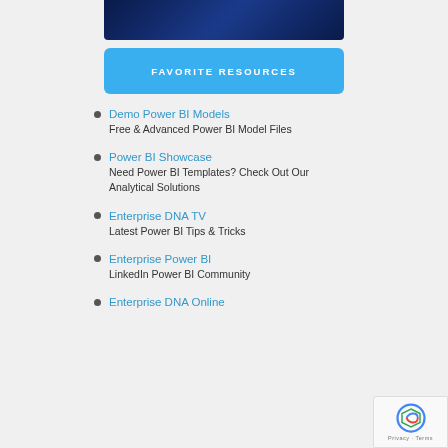[Figure (photo): Dark blue background with geometric/isometric shapes representing Power BI models]
FAVORITE RESOURCES
Demo Power BI Models
Free & Advanced Power BI Model Files
Power BI Showcase
Need Power BI Templates? Check Out Our Analytical Solutions
Enterprise DNA TV
Latest Power BI Tips & Tricks
Enterprise Power BI
LinkedIn Power BI Community
Enterprise DNA Online